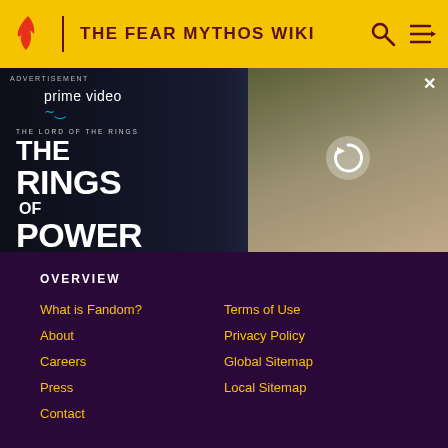THE FEAR MYTHOS WIKI
[Figure (screenshot): Amazon Prime Video advertisement for The Lord of the Rings: The Rings of Power. Shows a dark hooded figure and a blonde woman. Text: prime video, THE LORD OF THE RINGS, THE RINGS OF POWER, WATCH NOW | NEW SERIES]
OVERVIEW
What is Fandom?
Terms of Use
About
Privacy Policy
Careers
Global Sitemap
Press
Local Sitemap
Contact